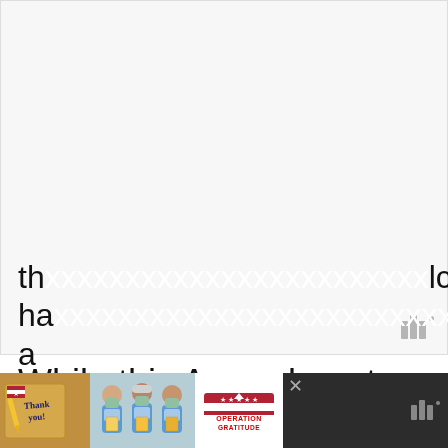[Figure (screenshot): Large white/light gray blank area representing a video or media placeholder, with a small watermark logo (three vertical bars with a dot) in the lower right corner.]
While this Amendment gave Americans
th...lcohol ha...s a
[Figure (other): Advertisement banner at the bottom: dark background with a 'Thank you!' card with American flag pencil, a photo of three medical workers in masks holding cards, an Operation Gratitude logo, an X close button, and a watermark logo on the right side.]